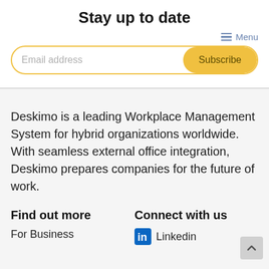Stay up to date
[Figure (screenshot): Menu icon with three horizontal lines and 'Menu' text in blue]
[Figure (screenshot): Email subscription bar with 'Email address' placeholder and yellow 'Subscribe' button]
Deskimo is a leading Workplace Management System for hybrid organizations worldwide. With seamless external office integration, Deskimo prepares companies for the future of work.
Find out more
Connect with us
For Business
Linkedin